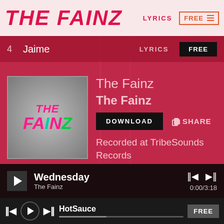THE FAINZ   LYRICS   FREE
4   Jaime   LYRICS   FREE
[Figure (illustration): Album art for The Fainz showing the band name in colorful graffiti-style lettering on a textured gray background]
The Fainz
The Fainz
DOWNLOAD   SHARE
Recorded at TribeSounds Records
Wednesday
The Fainz
0:00/3:18
HotSauce   FREE